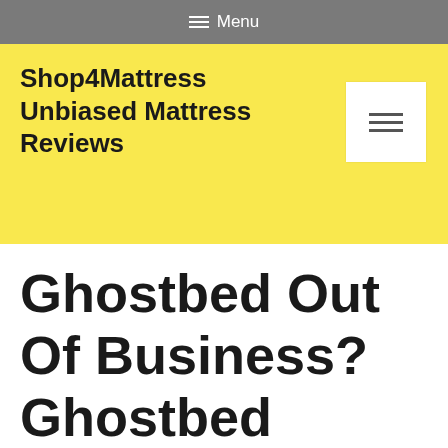Menu
Shop4Mattress Unbiased Mattress Reviews
Ghostbed Out Of Business? Ghostbed Mattess Cover